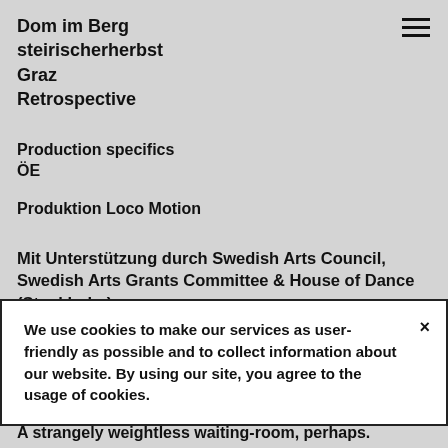Dom im Berg
steirischerherbst
Graz
Retrospective
Production specifics
ÖE
Produktion Loco Motion
Mit Unterstützung durch Swedish Arts Council, Swedish Arts Grants Committee & House of Dance (Stockholm)
Projektsponsor Java Café
We use cookies to make our services as user-friendly as possible and to collect information about our website. By using our site, you agree to the usage of cookies.
A strangely weightless waiting-room, perhaps.